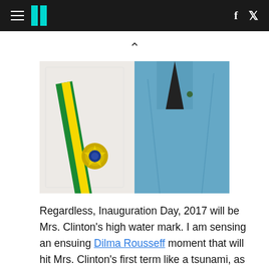HuffPost navigation header with hamburger menu, logo, Facebook and Twitter icons
[Figure (photo): Two women standing side by side. The woman on the left wears a white lace outfit with a green and yellow Brazilian presidential sash with an ornate gold and blue medallion. The woman on the right wears a light blue blazer over a dark top.]
Regardless, Inauguration Day, 2017 will be Mrs. Clinton's high water mark. I am sensing an ensuing Dilma Rousseff moment that will hit Mrs. Clinton's first term like a tsunami, as her Bernie-driven promises of free college tuition, minimum wage increases, and various forms of